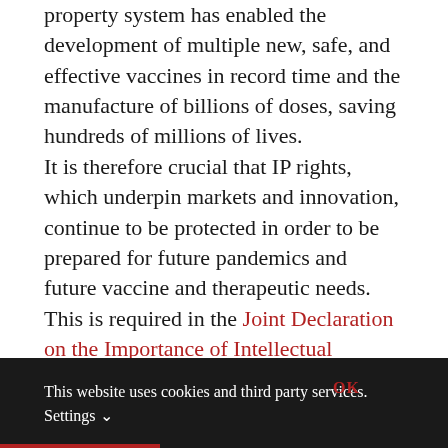property system has enabled the development of multiple new, safe, and effective vaccines in record time and the manufacture of billions of doses, saving hundreds of millions of lives.
It is therefore crucial that IP rights, which underpin markets and innovation, continue to be protected in order to be prepared for future pandemics and future vaccine and therapeutic needs. This is required in the Joint Declaration on the Importance of Intellectual Property Rights in Advancing Equitable Access to Vaccines and Therapeutics for Pandemic Preparedness, which was written by the Geneva Network which the
This website uses cookies and third party services. Settings OK